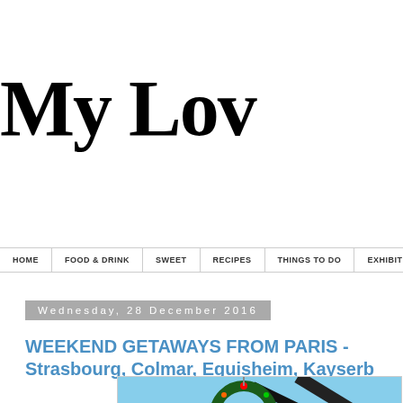My Lo
HOME | FOOD & DRINK | SWEET | RECIPES | THINGS TO DO | EXHIBITIONS & MUSEUMS
Wednesday, 28 December 2016
WEEKEND GETAWAYS FROM PARIS - Strasbourg, Colmar, Eguisheim, Kayserb
[Figure (photo): Photo of a Christmas wreath decoration with colored lights and a star ornament hanging outdoors against a blue sky, with dark structural elements in the foreground.]